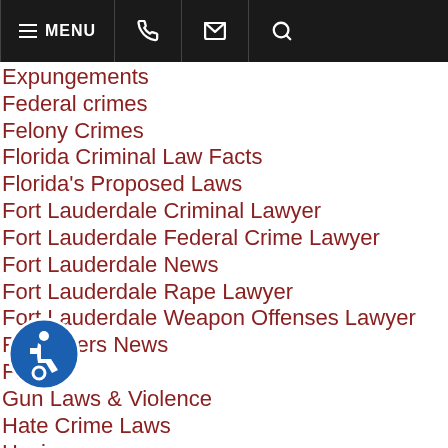MENU [navigation bar with phone, email, search icons]
Expungements
Federal crimes
Felony Crimes
Florida Criminal Law Facts
Florida's Proposed Laws
Fort Lauderdale Criminal Lawyer
Fort Lauderdale Federal Crime Lawyer
Fort Lauderdale News
Fort Lauderdale Rape Lawyer
Fort Lauderdale Weapon Offenses Lawyer
Fort Myers News
Fraud
Gun Laws & Violence
Hate Crime Laws
Hazing
Hit and Run Defense
Homicide
Insanity Defense
Internet Crimes
Juvenile Law
Kidnapping